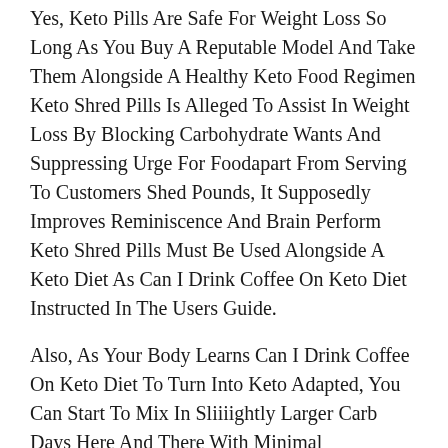Yes, Keto Pills Are Safe For Weight Loss So Long As You Buy A Reputable Model And Take Them Alongside A Healthy Keto Food Regimen Keto Shred Pills Is Alleged To Assist In Weight Loss By Blocking Carbohydrate Wants And Suppressing Urge For Foodapart From Serving To Customers Shed Pounds, It Supposedly Improves Reminiscence And Brain Perform Keto Shred Pills Must Be Used Alongside A Keto Diet As Can I Drink Coffee On Keto Diet Instructed In The Users Guide.
Also, As Your Body Learns Can I Drink Coffee On Keto Diet To Turn Into Keto Adapted, You Can Start To Mix In Sliiiightly Larger Carb Days Here And There With Minimal Antagonistic Results You Can Follow The Low Carb Rules Of Keto Along Along With Your Vegetarian Or Vegan Consuming Plan Also, If You Re Interested In Following A Plant Based Diet Generally, Be Certain To